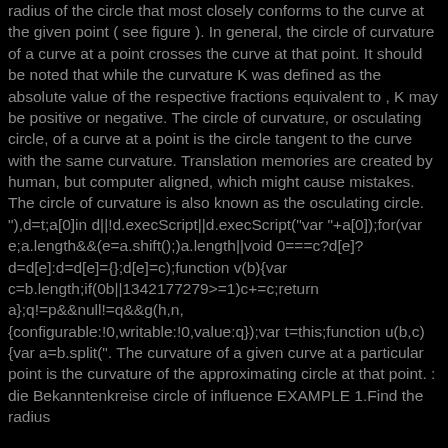radius of the circle that most closely conforms to the curve at the given point ( see figure ). In general, the circle of curvature of a curve at a point crosses the curve at that point. It should be noted that while the curvature K was defined as the absolute value of the respective fractions equivalent to , K may be positive or negative. The circle of curvature, or osculating circle, of a curve at a point is the circle tangent to the curve with the same curvature. Translation memories are created by human, but computer aligned, which might cause mistakes. The circle of curvature is also known as the osculating circle. "),d=t;a[0]in d||!d.execScript||d.execScript("var "+a[0]);for(var e;a.length&&(e=a.shift();)a.length||void 0===c?d[e]?d=d[e]:d=d[e]={};d[e]=c);function v(b){var c=b.length;if(0b||1342177279>=1)c+=c;return a};q!=p&&null!=q&&g(h,n,{configurable:!0,writable:!0,value:q});var t=this;function u(b,c){var a=b.split(". The curvature of a given curve at a particular point is the curvature of the approximating circle at that point. : die Bekanntenkreise circle of influence EXAMPLE 1.Find the radius